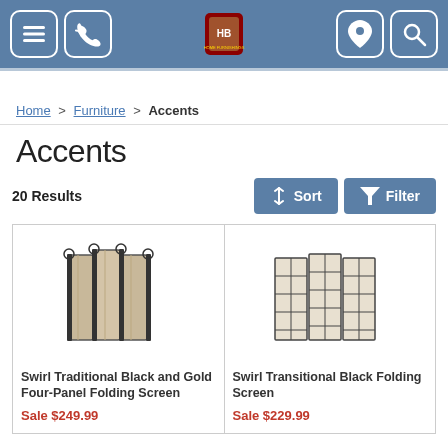Navigation header with menu, phone, logo, location, and search icons
Home > Furniture > Accents
Accents
20 Results
[Figure (photo): Swirl Traditional Black and Gold Four-Panel Folding Screen product image]
Swirl Traditional Black and Gold Four-Panel Folding Screen
Sale $249.99
[Figure (photo): Swirl Transitional Black Folding Screen product image]
Swirl Transitional Black Folding Screen
Sale $229.99